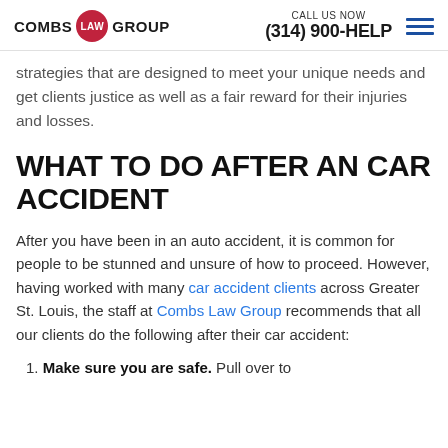COMBS LAW GROUP | CALL US NOW (314) 900-HELP
strategies that are designed to meet your unique needs and get clients justice as well as a fair reward for their injuries and losses.
WHAT TO DO AFTER AN CAR ACCIDENT
After you have been in an auto accident, it is common for people to be stunned and unsure of how to proceed. However, having worked with many car accident clients across Greater St. Louis, the staff at Combs Law Group recommends that all our clients do the following after their car accident:
1. Make sure you are safe. Pull over to